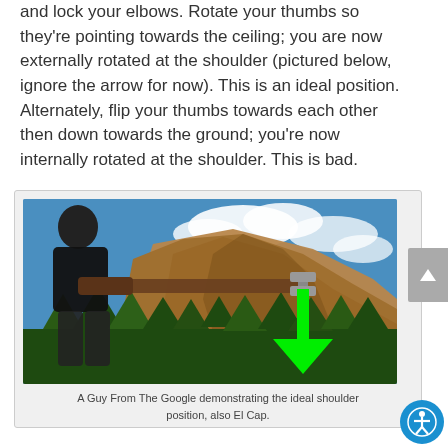and lock your elbows. Rotate your thumbs so they're pointing towards the ceiling; you are now externally rotated at the shoulder (pictured below, ignore the arrow for now). This is an ideal position. Alternately, flip your thumbs towards each other then down towards the ground; you're now internally rotated at the shoulder. This is bad.
[Figure (photo): A man in a black shirt standing outdoors with arms extended forward holding dumbbells, with El Capitan mountain and blue sky in the background. A large green downward-pointing arrow is overlaid on the image near his hands.]
A Guy From The Google demonstrating the ideal shoulder position, also El Cap.